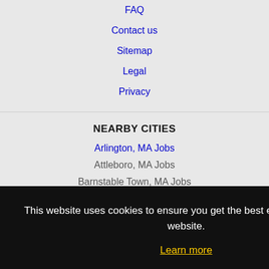FAQ
Contact us
Sitemap
Legal
Privacy
NEARBY CITIES
Arlington, MA Jobs
Attleboro, MA Jobs
Barnstable Town, MA Jobs
Billerica, MA Jobs
Boston, MA Jobs
Brockton, MA Jobs
Brookline, MA Jobs
Cambridge, MA Jobs
Chelsea, MA Jobs
Chicopee, MA Jobs
This website uses cookies to ensure you get the best experience on our website.
Learn more
Got it!